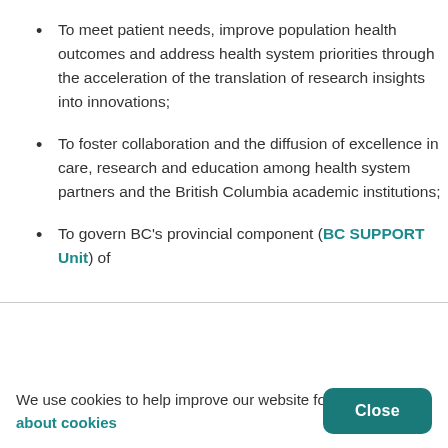To meet patient needs, improve population health outcomes and address health system priorities through the acceleration of the translation of research insights into innovations;
To foster collaboration and the diffusion of excellence in care, research and education among health system partners and the British Columbia academic institutions;
To govern BC's provincial component (BC SUPPORT Unit) of
We use cookies to help improve our website for you. Learn about cookies